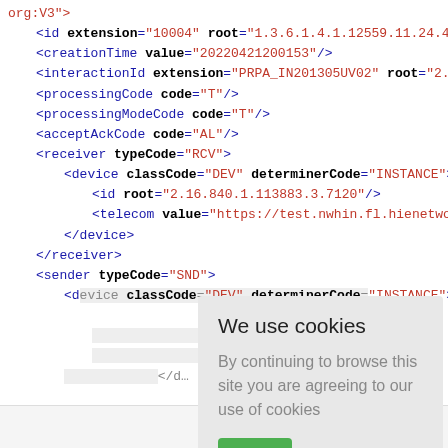[Figure (screenshot): XML code snippet showing HL7 message structure with elements: id extension, creationTime, interactionId, processingCode, processingModeCode, acceptAckCode, receiver with nested device, sender with nested device. Blue element tags, red attribute values, bold attribute names.]
We use cookies
By continuing to browse this site you are agreeing to our use of cookies
Ok
About   E